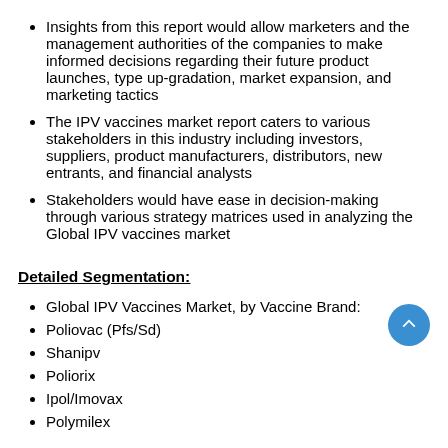Insights from this report would allow marketers and the management authorities of the companies to make informed decisions regarding their future product launches, type up-gradation, market expansion, and marketing tactics
The IPV vaccines market report caters to various stakeholders in this industry including investors, suppliers, product manufacturers, distributors, new entrants, and financial analysts
Stakeholders would have ease in decision-making through various strategy matrices used in analyzing the Global IPV vaccines market
Detailed Segmentation:
Global IPV Vaccines Market, by Vaccine Brand:
Poliovac (Pfs/Sd)
Shanipv
Poliorix
Ipol/Imovax
Polymilex